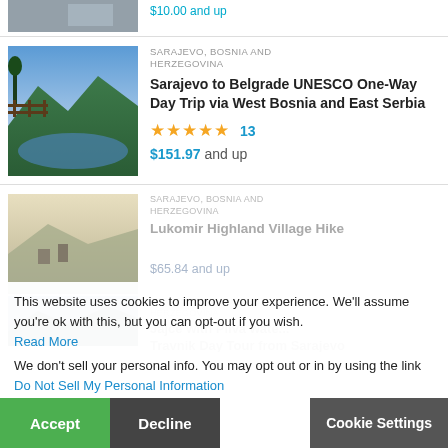[Figure (photo): Partial top listing thumbnail - car/scenery]
$10.00 and up
[Figure (photo): Mountain landscape with wooden fence and lake - Sarajevo to Belgrade listing]
SARAJEVO, BOSNIA AND HERZEGOVINA
Sarajevo to Belgrade UNESCO One-Way Day Trip via West Bosnia and East Serbia
★★★★★ 13
$151.97 and up
[Figure (photo): Misty mountain village landscape - third listing thumbnail]
SARAJEVO, BOSNIA AND HERZEGOVINA
Lukomir Highland Village Hike
$65.84 and up
This website uses cookies to improve your experience. We'll assume you're ok with this, but you can opt-out if you wish.
Read More
We don't sell your personal info. You may opt out or in by using the link Do Not Sell My Personal Information
[Figure (photo): Jajce waterfall / Travnik landscape - fourth listing thumbnail]
SARAJEVO, BOSNIA AND HERZEGOVINA
Jajce with Pliva waterfall & Travnik Day Tour from Sarajevo